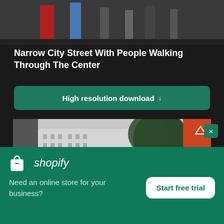[Figure (photo): Top portion of a photo showing people walking on a narrow city street, partially cut off at top of page.]
Narrow City Street With People Walking Through The Center
High resolution download ↓
[Figure (photo): Street scene photo showing European-style buildings, a large tree, and a partial red sign (PROXI visible) on the right. Black and white tones with some color.]
[Figure (logo): Shopify logo with shopping bag icon and italic wordmark]
Need an online store for your business?
Start free trial